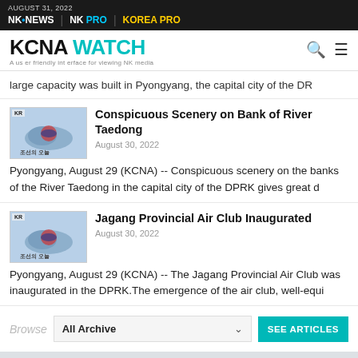AUGUST 31, 2022 | NK NEWS | NK PRO | KOREA PRO
KCNA WATCH — A user friendly interface for viewing NK media
large capacity was built in Pyongyang, the capital city of the DR
Conspicuous Scenery on Bank of River Taedong
August 30, 2022
Pyongyang, August 29 (KCNA) -- Conspicuous scenery on the banks of the River Taedong in the capital city of the DPRK gives great d
Jagang Provincial Air Club Inaugurated
August 30, 2022
Pyongyang, August 29 (KCNA) -- The Jagang Provincial Air Club was inaugurated in the DPRK.The emergence of the air club, well-equi
Browse  All Archive  SEE ARTICLES